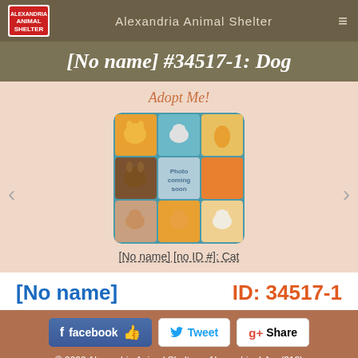Alexandria Animal Shelter
[No name] #34517-1: Dog
Adopt Me!
[Figure (illustration): Placeholder image of cartoon animals (dogs and cats) in a grid with text 'Photo coming soon']
[No name] [no ID #]: Cat
[No name]
ID: 34517-1
© 2022 Alexandria Animal Shelter   Alexandria, LA   (318) 473-1229